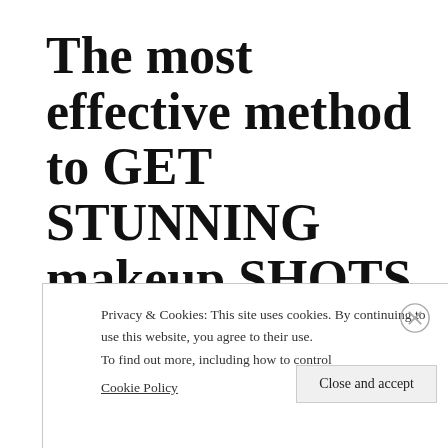The most effective method to GET STUNNING makeup SHOTS FOR YOUR WEDDING PHOTOS
Privacy & Cookies: This site uses cookies. By continuing to use this website, you agree to their use. To find out more, including how to control cookies, see here: Cookie Policy